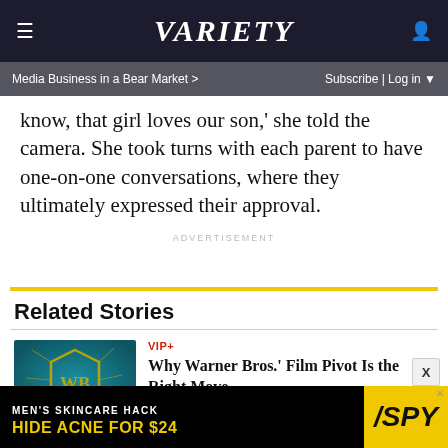Variety
Media Business in a Bear Market >   Subscribe | Log in
know, that girl loves our son,' she told the camera. She took turns with each parent to have one-on-one conversations, where they ultimately expressed their approval.
ADVERTISEMENT
Related Stories
VIP+
Why Warner Bros.' Film Pivot Is the Right Move
[Figure (photo): Warner Bros. logo with shattered glass effect on teal background]
[Figure (advertisement): Men's Skincare Hack - Hide Acne For $24 - SPY brand advertisement banner]